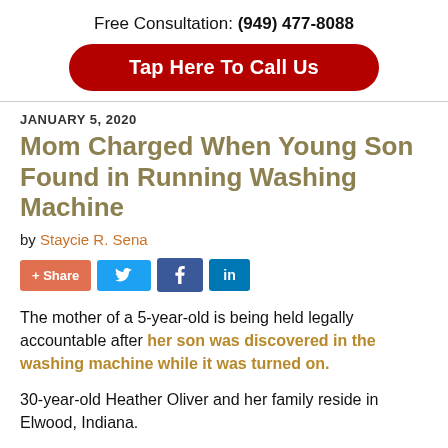Free Consultation: (949) 477-8088
Tap Here To Call Us
JANUARY 5, 2020
Mom Charged When Young Son Found in Running Washing Machine
by Staycie R. Sena
[Figure (other): Social share buttons: +Share, Twitter, Facebook, LinkedIn]
The mother of a 5-year-old is being held legally accountable after her son was discovered in the washing machine while it was turned on.
30-year-old Heather Oliver and her family reside in Elwood, Indiana.
On August 16, Oliver reportedly woke up and got out of bed around 9:00 am, and began her...